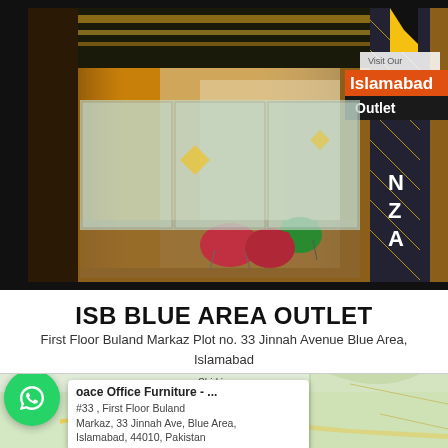[Figure (photo): Interior of ISB Blue Area outlet showing a modern furniture/office store with yellow ceiling details, colorful chairs, and an Islamabad Outlet overlay badge in top right corner]
ISB BLUE AREA OUTLET
First Floor Buland Markaz Plot no. 33 Jinnah Avenue Blue Area, Islamabad
[Figure (map): Google Maps screenshot showing Shirki area with a popup card for 'Space Office Furniture - ...' at #33, First Floor Buland Markaz, 33 Jinnah Ave, Blue Area, Islamabad, 44010, Pakistan. A WhatsApp button overlays the bottom left of the map.]